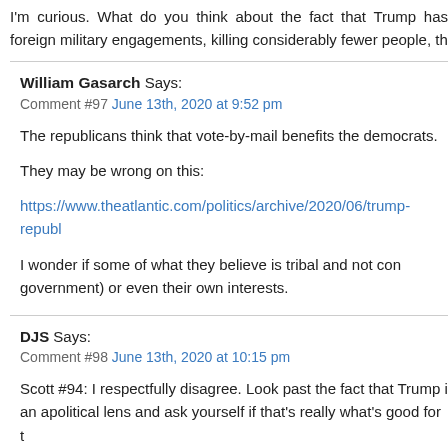I'm curious. What do you think about the fact that Trump has foreign military engagements, killing considerably fewer people, th...
William Gasarch Says:
Comment #97 June 13th, 2020 at 9:52 pm

The republicans think that vote-by-mail benefits the democrats.

They may be wrong on this:

https://www.theatlantic.com/politics/archive/2020/06/trump-republ...

I wonder if some of what they believe is tribal and not con... government) or even their own interests.
DJS Says:
Comment #98 June 13th, 2020 at 10:15 pm

Scott #94: I respectfully disagree. Look past the fact that Trump i... an apolitical lens and ask yourself if that's really what's good for t...

Granted, you probably don't have the time for that. All I've got to... the corporate Democratic party represents just a ramped up, bla... may be and hope I am wrong.